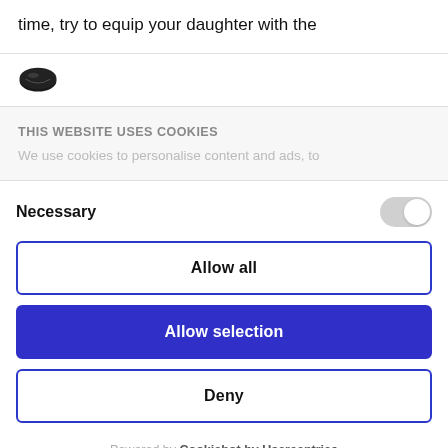time, try to equip your daughter with the
[Figure (logo): Cookiebot logo - dark oval/cookie icon]
THIS WEBSITE USES COOKIES
We use cookies to personalise content and ads, to
Necessary
Allow all
Allow selection
Deny
Powered by Cookiebot by Usercentrics